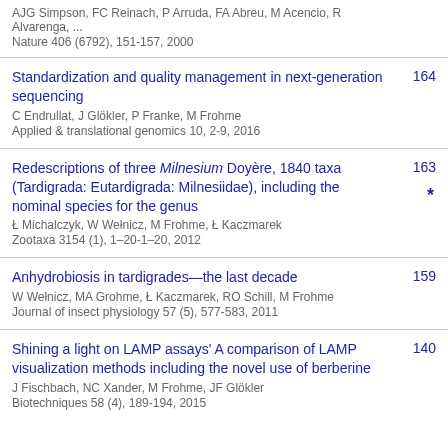AJG Simpson, FC Reinach, P Arruda, FA Abreu, M Acencio, R Alvarenga, ...
Nature 406 (6792), 151-157, 2000
Standardization and quality management in next-generation sequencing | 164
C Endrullat, J Glökler, P Franke, M Frohme
Applied & translational genomics 10, 2-9, 2016
Redescriptions of three Milnesium Doyère, 1840 taxa (Tardigrada: Eutardigrada: Milnesiidae), including the nominal species for the genus | 163 *
Ł Michalczyk, W Wełnicz, M Frohme, Ł Kaczmarek
Zootaxa 3154 (1), 1–20-1–20, 2012
Anhydrobiosis in tardigrades—the last decade | 159
W Wełnicz, MA Grohme, Ł Kaczmarek, RO Schill, M Frohme
Journal of insect physiology 57 (5), 577-583, 2011
Shining a light on LAMP assays' A comparison of LAMP visualization methods including the novel use of berberine | 140
J Fischbach, NC Xander, M Frohme, JF Glökler
Biotechniques 58 (4), 189-194, 2015